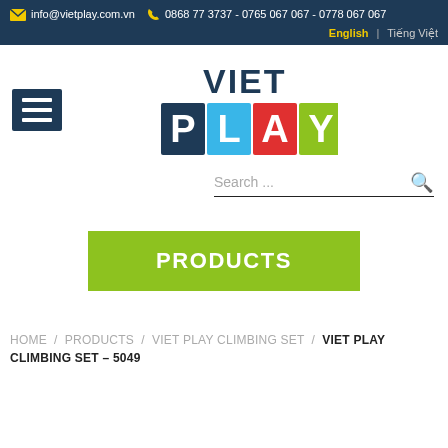info@vietplay.com.vn   0868 77 3737 - 0765 067 067 - 0778 067 067
English | Tiếng Việt
[Figure (logo): Viet Play logo with VIET text in dark blue and PLAY in colored blocks (dark blue P, blue L, red A, green Y)]
Search ...
PRODUCTS
HOME / PRODUCTS / VIET PLAY CLIMBING SET / VIET PLAY CLIMBING SET – 5049